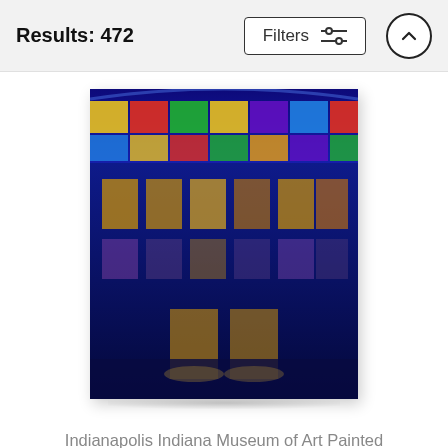Results: 472
Filters
[Figure (photo): A colorful painted digital art photo of the Indianapolis Indiana Museum of Art building at night, with vivid multicolored flags or banners at the top and glowing blue and gold tones throughout.]
Indianapolis Indiana Museum of Art Painted Digitally Yoga Mat
David Haskett II
$80